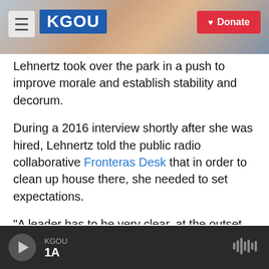[Figure (screenshot): KGOU radio station website header with hamburger menu, KGOU logo in blue, city background photo, and red Donate button]
Lehnertz took over the park in a push to improve morale and establish stability and decorum.
During a 2016 interview shortly after she was hired, Lehnertz told the public radio collaborative Fronteras Desk that in order to clean up house there, she needed to set expectations.
"A leader has to be very clear, at the outset, so there's just no question in anyone's mind that there are rewards for those behaviors that are positive and consequences for those that are negative," she said
KGOU 1A